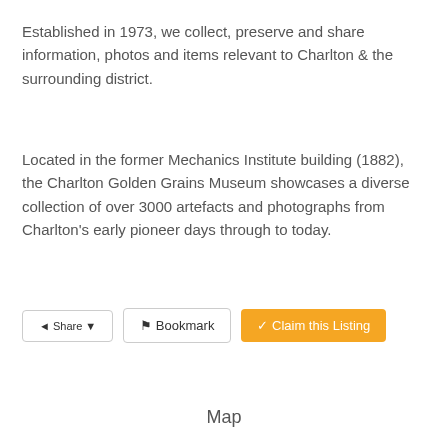Established in 1973, we collect, preserve and share information, photos and items relevant to Charlton & the surrounding district.
Located in the former Mechanics Institute building (1882), the Charlton Golden Grains Museum showcases a diverse collection of over 3000 artefacts and photographs from Charlton's early pioneer days through to today.
Share | Bookmark | Claim this Listing
Map